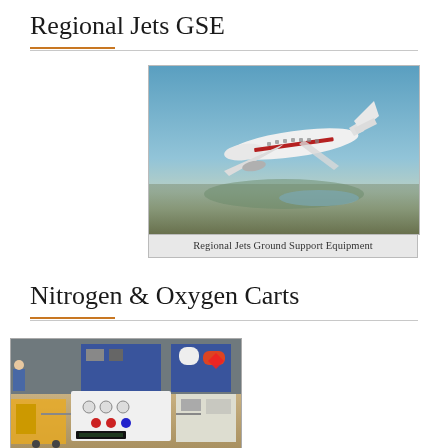Regional Jets GSE
[Figure (photo): A white regional jet aircraft with red stripe livery flying in blue sky over landscape]
Regional Jets Ground Support Equipment
Nitrogen & Oxygen Carts
[Figure (photo): Workshop floor with nitrogen and oxygen carts, equipment panels with gauges and controls, workers in background]